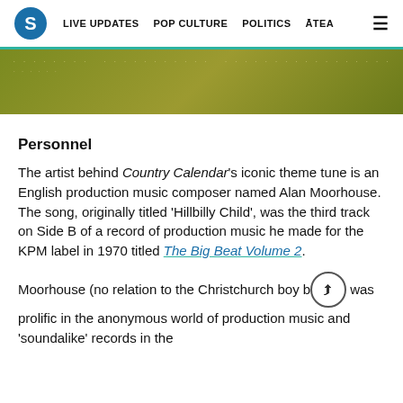S  LIVE UPDATES  POP CULTURE  POLITICS  ĀTEA  ☰
[Figure (photo): Partial image of a golden-green background with faint light-colored text or lettering visible at the top.]
Personnel
The artist behind Country Calendar's iconic theme tune is an English production music composer named Alan Moorhouse. The song, originally titled 'Hillbilly Child', was the third track on Side B of a record of production music he made for the KPM label in 1970 titled The Big Beat Volume 2.
Moorhouse (no relation to the Christchurch boy b[share icon]was prolific in the anonymous world of production music and 'soundalike' records in the